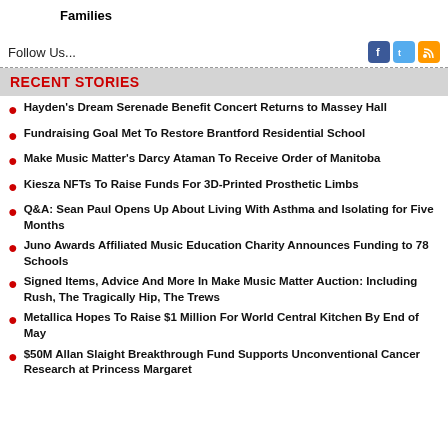Families
Follow Us...
RECENT STORIES
Hayden's Dream Serenade Benefit Concert Returns to Massey Hall
Fundraising Goal Met To Restore Brantford Residential School
Make Music Matter's Darcy Ataman To Receive Order of Manitoba
Kiesza NFTs To Raise Funds For 3D-Printed Prosthetic Limbs
Q&A: Sean Paul Opens Up About Living With Asthma and Isolating for Five Months
Juno Awards Affiliated Music Education Charity Announces Funding to 78 Schools
Signed Items, Advice And More In Make Music Matter Auction: Including Rush, The Tragically Hip, The Trews
Metallica Hopes To Raise $1 Million For World Central Kitchen By End of May
$50M Allan Slaight Breakthrough Fund Supports Unconventional Cancer Research at Princess Margaret